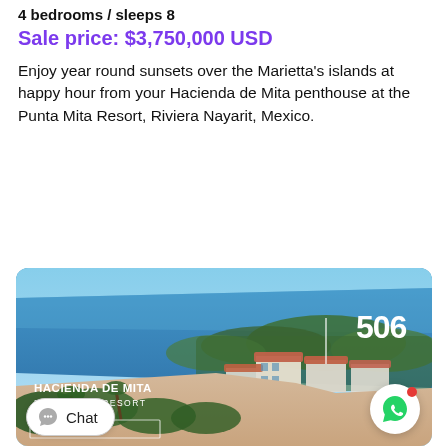4 bedrooms / sleeps 8
Sale price: $3,750,000 USD
Enjoy year round sunsets over the Marietta's islands at happy hour from your Hacienda de Mita penthouse at the Punta Mita Resort, Riviera Nayarit, Mexico.
[Figure (photo): Aerial photo of Hacienda de Mita at Punta Mita Resort, Mexico, showing coastline, beach, resort buildings with terracotta roofs, and ocean. Number 506 in white text upper right. Text overlay: HACIENDA DE MITA / PUNTA MITA RESORT / MEXICO.]